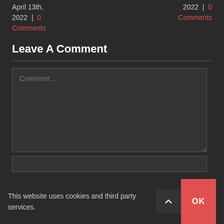April 13th, 2022 | 0 Comments
2022 | 0 Comments
Leave A Comment
Comment...
This website uses cookies and third party services.